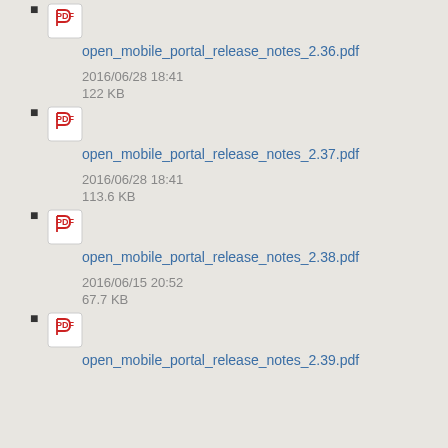open_mobile_portal_release_notes_2.36.pdf
2016/06/28 18:41
122 KB
open_mobile_portal_release_notes_2.37.pdf
2016/06/28 18:41
113.6 KB
open_mobile_portal_release_notes_2.38.pdf
2016/06/15 20:52
67.7 KB
open_mobile_portal_release_notes_2.39.pdf